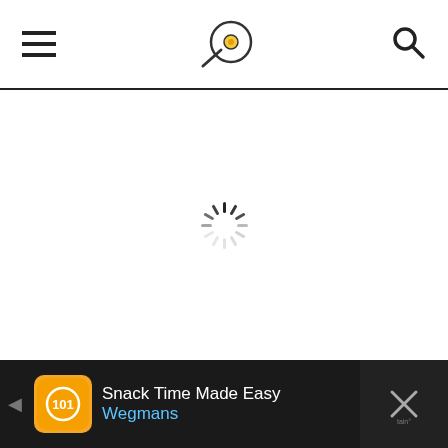[Figure (illustration): Loading spinner icon (circular dashes arranged in a circle) centered on white background]
ONE POT BACON BROCCOLI MAC AND CHEESE
[Figure (illustration): Advertisement banner: Wegmans 'Snack Time Made Easy' ad with orange icon, blue Wegmans text, navigation arrow, and close button on dark background]